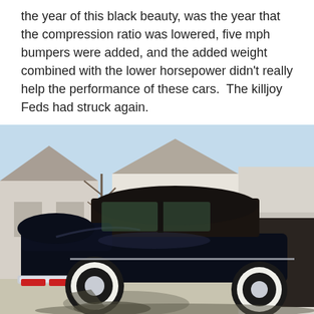the year of this black beauty, was the year that the compression ratio was lowered, five mph bumpers were added, and the added weight combined with the lower horsepower didn't really help the performance of these cars.  The killjoy Feds had struck again.
[Figure (photo): Rear three-quarter view of a dark navy blue classic Lincoln Continental Mark IV coupe with a black vinyl roof and white wall tires, parked in a driveway in front of suburban houses with garage open on the right side. Clear blue sky in the background.]